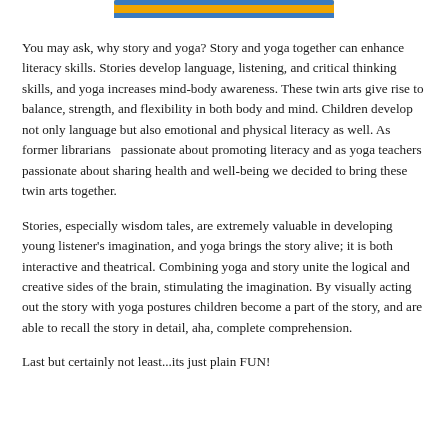[Figure (other): Decorative banner image at the top of the page with blue and yellow/orange colors]
You may ask, why story and yoga? Story and yoga together can enhance literacy skills. Stories develop language, listening, and critical thinking skills, and yoga increases mind-body awareness. These twin arts give rise to balance, strength, and flexibility in both body and mind. Children develop not only language but also emotional and physical literacy as well. As former librarians  passionate about promoting literacy and as yoga teachers passionate about sharing health and well-being we decided to bring these twin arts together.
Stories, especially wisdom tales, are extremely valuable in developing young listener's imagination, and yoga brings the story alive; it is both interactive and theatrical. Combining yoga and story unite the logical and creative sides of the brain, stimulating the imagination. By visually acting out the story with yoga postures children become a part of the story, and are able to recall the story in detail, aha, complete comprehension.
Last but certainly not least...its just plain FUN!